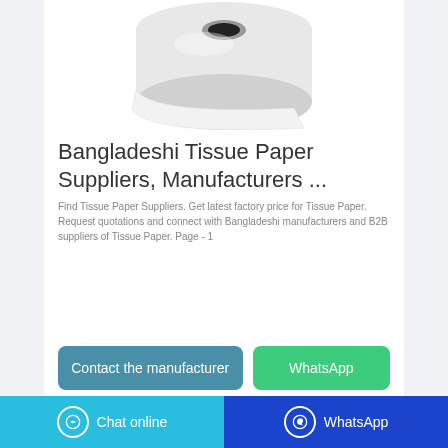[Figure (photo): Product photo of a roll of white tissue paper/paper towel on a white background.]
Bangladeshi Tissue Paper Suppliers, Manufacturers ...
Find Tissue Paper Suppliers. Get latest factory price for Tissue Paper. Request quotations and connect with Bangladeshi manufacturers and B2B suppliers of Tissue Paper. Page - 1
Contact the manufacturer
WhatsApp
Chat online   WhatsApp